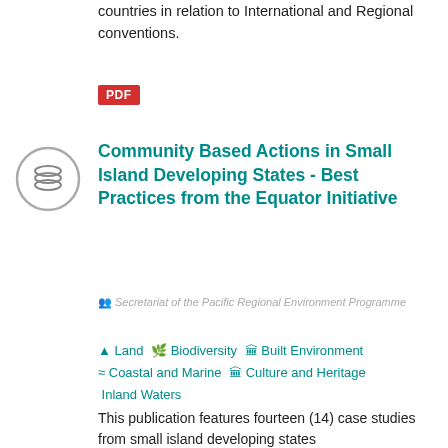countries in relation to International and Regional conventions.
[Figure (other): Red PDF badge/button]
[Figure (other): Circular layers/stack icon in grey outline]
Community Based Actions in Small Island Developing States - Best Practices from the Equator Initiative
Secretariat of the Pacific Regional Environment Programme
▲ Land 🌿 Biodiversity 🏛 Built Environment ≈ Coastal and Marine 🏛 Culture and Heritage  Inland Waters
This publication features fourteen (14) case studies from small island developing states